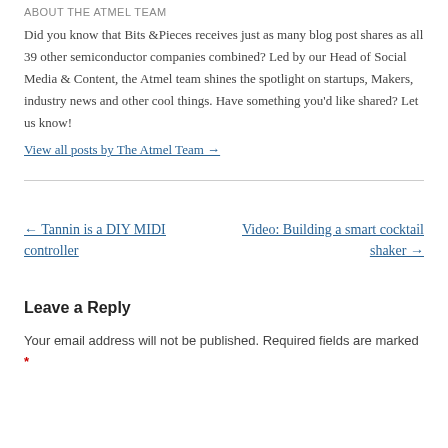About The Atmel Team
Did you know that Bits &Pieces receives just as many blog post shares as all 39 other semiconductor companies combined? Led by our Head of Social Media & Content, the Atmel team shines the spotlight on startups, Makers, industry news and other cool things. Have something you'd like shared? Let us know!
View all posts by The Atmel Team →
← Tannin is a DIY MIDI controller
Video: Building a smart cocktail shaker →
Leave a Reply
Your email address will not be published. Required fields are marked *